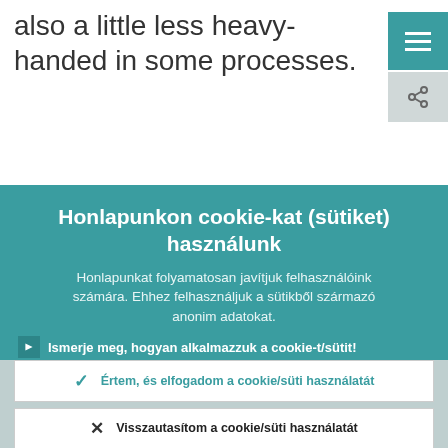also a little less heavy-handed in some processes.
Honlapunkon cookie-kat (sütiket) használunk
Honlapunkat folyamatosan javítjuk felhasználóink számára. Ehhez felhasználjuk a sütikből származó anonim adatokat.
Ismerje meg, hogyan alkalmazzuk a cookie-t/sütit!
Értem, és elfogadom a cookie/süti használatát
Visszautasítom a cookie/süti használatát